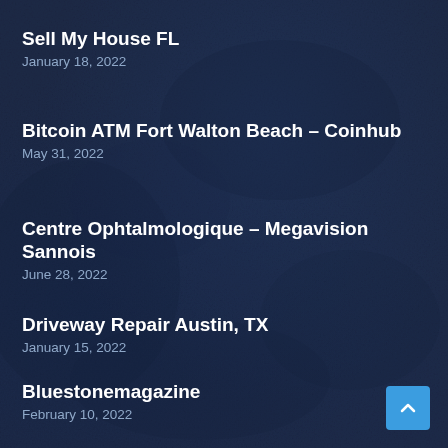Sell My House FL
January 18, 2022
Bitcoin ATM Fort Walton Beach – Coinhub
May 31, 2022
Centre Ophtalmologique – Megavision Sannois
June 28, 2022
Driveway Repair Austin, TX
January 15, 2022
Bluestonemagazine
February 10, 2022